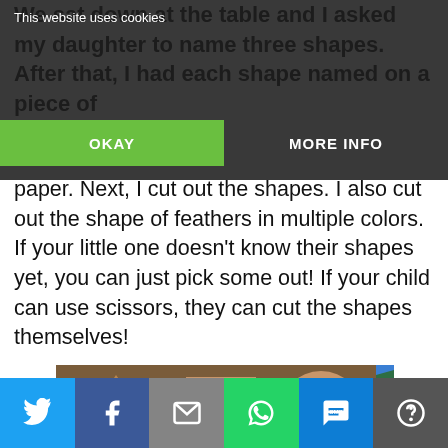We sat down at the table and I asked my daughter to name three shapes. After that, I had each shape named on a piece of paper. Next, I cut out the shapes. I also cut out the shape of feathers in multiple colors. If your little one doesn't know their shapes yet, you can just pick some out! If your child can use scissors, they can cut the shapes themselves!
[Figure (photo): Photo of brown paper cutout shapes (triangle, square, circle) on a wooden table, with a white paper labeled 'Triangle' in pink writing and colorful feather shapes (purple, yellow, teal) below.]
Twitter | Facebook | Email | WhatsApp | SMS | More